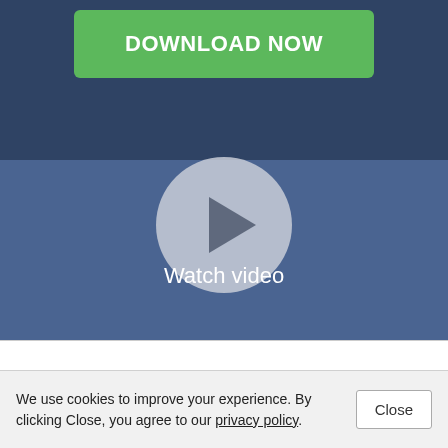[Figure (screenshot): Green download button with white bold text 'DOWNLOAD NOW' on a blue/dark background with a play button circle and 'Watch video' label. Below is a white gap and a cookie consent bar.]
DOWNLOAD NOW
Watch video
We use cookies to improve your experience. By clicking Close, you agree to our privacy policy.
Close